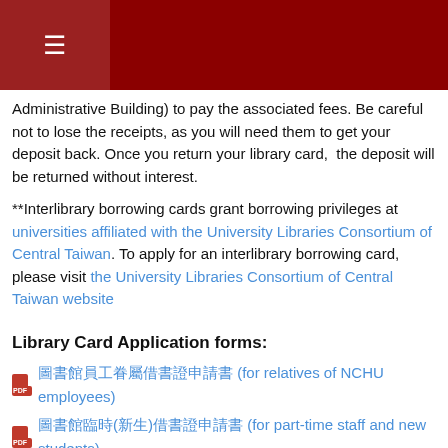≡ [navigation bar]
Administrative Building) to pay the associated fees. Be careful not to lose the receipts, as you will need them to get your deposit back. Once you return your library card,  the deposit will be returned without interest.
**Interlibrary borrowing cards grant borrowing privileges at universities affiliated with the University Libraries Consortium of Central Taiwan. To apply for an interlibrary borrowing card, please visit the University Libraries Consortium of Central Taiwan website
Library Card Application forms:
圖書館員工眷屬借書證申請書 (for relatives of NCHU employees)
圖書館臨時(新生)借書證申請書 (for part-time staff and new students)
圖書館旁聽生借書證申請書 (for non-degree students)